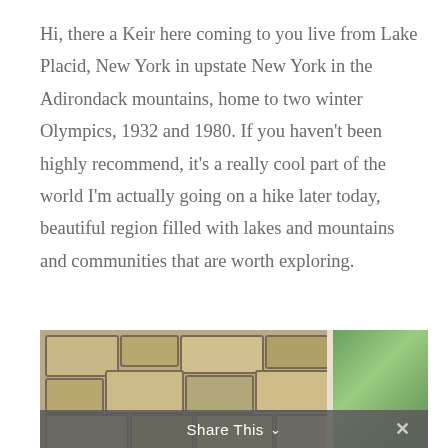Hi, there a Keir here coming to you live from Lake Placid, New York in upstate New York in the Adirondack mountains, home to two winter Olympics, 1932 and 1980. If you haven't been highly recommend, it's a really cool part of the world I'm actually going on a hike later today, beautiful region filled with lakes and mountains and communities that are worth exploring.
[Figure (photo): Photo of a stone wall fireplace with a window showing green foliage on the right side. A share bar overlay is visible at the bottom.]